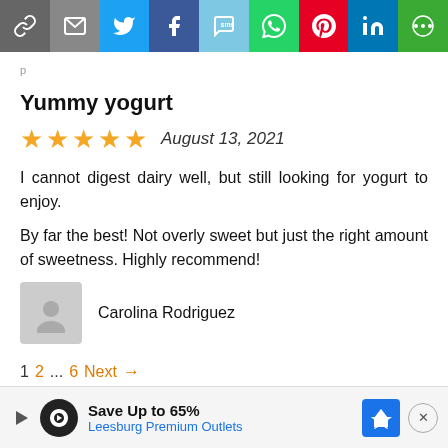[Figure (infographic): Social share button bar with icons: link, email, Twitter, Facebook, SMS, WhatsApp, Pinterest, LinkedIn, More]
Yummy yogurt
★★★★★  August 13, 2021
I cannot digest dairy well, but still looking for yogurt to enjoy.
By far the best! Not overly sweet but just the right amount of sweetness. Highly recommend!
Carolina Rodriguez
1  2 ... 6  Next →
[Figure (infographic): Advertisement banner: Save Up to 65% Leesburg Premium Outlets]